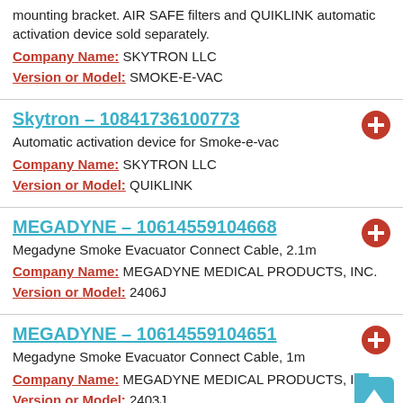mounting bracket. AIR SAFE filters and QUIKLINK automatic activation device sold separately.
Company Name: SKYTRON LLC
Version or Model: SMOKE-E-VAC
Skytron – 10841736100773
Automatic activation device for Smoke-e-vac
Company Name: SKYTRON LLC
Version or Model: QUIKLINK
MEGADYNE – 10614559104668
Megadyne Smoke Evacuator Connect Cable, 2.1m
Company Name: MEGADYNE MEDICAL PRODUCTS, INC.
Version or Model: 2406J
MEGADYNE – 10614559104651
Megadyne Smoke Evacuator Connect Cable, 1m
Company Name: MEGADYNE MEDICAL PRODUCTS, I…
Version or Model: 2403J